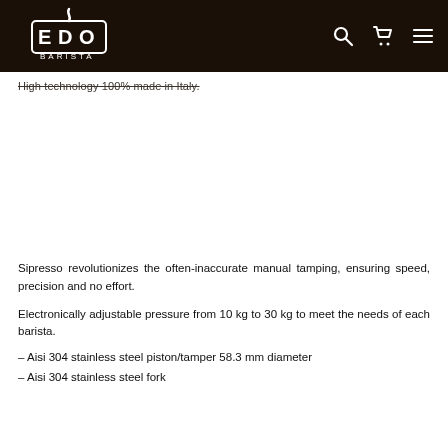EDO BARISTA navigation bar with logo, search, cart, and menu icons
High technology 100% made in Italy.
[Figure (photo): Product image area (blank/white space representing a product photo)]
Sipresso revolutionizes the often-inaccurate manual tamping, ensuring speed, precision and no effort.
Electronically adjustable pressure from 10 kg to 30 kg to meet the needs of each barista.
– Aisi 304 stainless steel piston/tamper 58.3 mm diameter
– Aisi 304 stainless steel fork